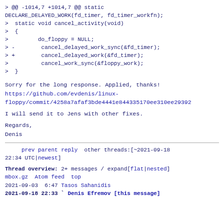> @@ -1014,7 +1014,7 @@ static
DECLARE_DELAYED_WORK(fd_timer, fd_timer_workfn);
>  static void cancel_activity(void)
>  {
>         do_floppy = NULL;
> -        cancel_delayed_work_sync(&fd_timer);
> +        cancel_delayed_work(&fd_timer);
>          cancel_work_sync(&floppy_work);
>  }
Sorry for the long response. Applied, thanks!
https://github.com/evdenis/linux-floppy/commit/4258a7afaf3bde4441e844335170ee310ee29392
I will send it to Jens with other fixes.
Regards,
Denis
prev parent reply  other threads:[~2021-09-18 22:34 UTC|newest]
Thread overview: 2+ messages / expand[flat|nested]
mbox.gz  Atom feed  top
2021-09-03  6:47 Tasos Sahanidis
2021-09-18 22:33 ` Denis Efremov [this message]